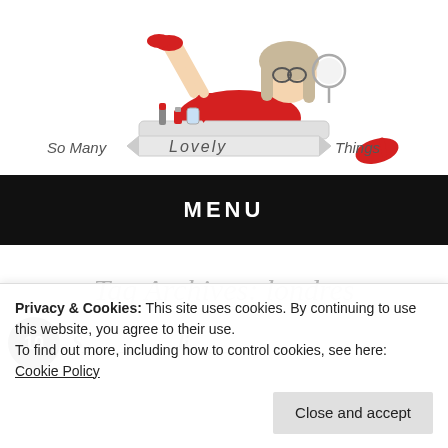[Figure (illustration): Illustrated logo for 'So Many Lovely Things' blog featuring a cartoon woman in red lying on a makeup vanity table, with cosmetics and beauty items, a hand mirror, and a decorative ribbon banner with the blog name.]
MENU
Tag Archives: londres
Privacy & Cookies: This site uses cookies. By continuing to use this website, you agree to their use.
To find out more, including how to control cookies, see here: Cookie Policy
Close and accept